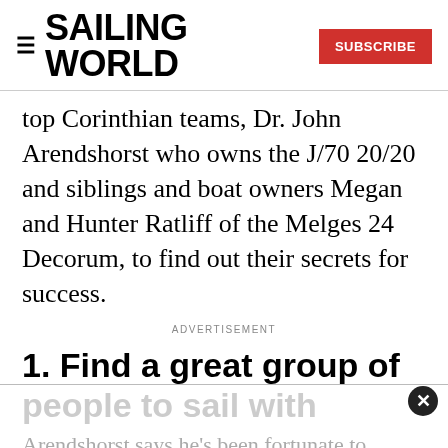SAILING WORLD | SUBSCRIBE
top Corinthian teams, Dr. John Arendshorst who owns the J/70 20/20 and siblings and boat owners Megan and Hunter Ratliff of the Melges 24 Decorum, to find out their secrets for success.
ADVERTISEMENT
1. Find a great group of people to sail with
Arendshorst says he's been fortunate to